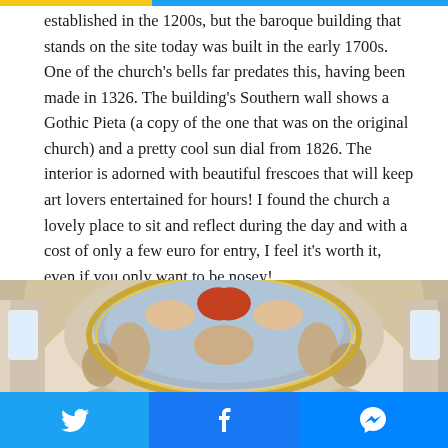established in the 1200s, but the baroque building that stands on the site today was built in the early 1700s. One of the church's bells far predates this, having been made in 1326. The building's Southern wall shows a Gothic Pieta (a copy of the one that was on the original church) and a pretty cool sun dial from 1826. The interior is adorned with beautiful frescoes that will keep art lovers entertained for hours! I found the church a lovely place to sit and reflect during the day and with a cost of only a few euro for entry, I feel it's worth it, even if you only want to be nosey!
[Figure (photo): Interior ceiling of a baroque church showing elaborate colorful frescoes with religious scenes, ornate arches, and decorative moldings.]